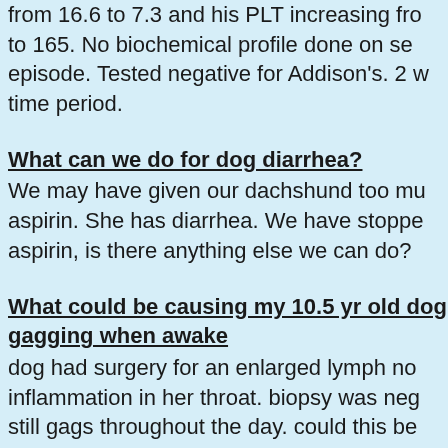from 16.6 to 7.3 and his PLT increasing fro to 165. No biochemical profile done on se episode. Tested negative for Addison's. 2 w time period.
What can we do for dog diarrhea?
We may have given our dachshund too mu aspirin. She has diarrhea. We have stoppe aspirin, is there anything else we can do?
What could be causing my 10.5 yr old dog gagging when awake
dog had surgery for an enlarged lymph no inflammation in her throat. biopsy was neg still gags throughout the day. could this be something serious?